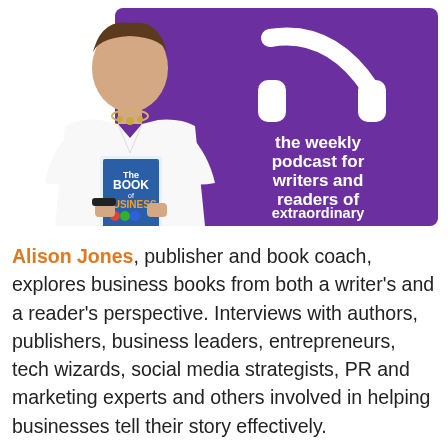[Figure (infographic): Podcast banner image showing a woman in a white shirt holding a book titled 'Book of Business' on a white and purple background, with white headphones icon and text: 'the weekly podcast for writers and readers of extraordinary business books']
Alison Jones, publisher and book coach, explores business books from both a writer's and a reader's perspective. Interviews with authors, publishers, business leaders, entrepreneurs, tech wizards, social media strategists, PR and marketing experts and others involved in helping businesses tell their story effectively.